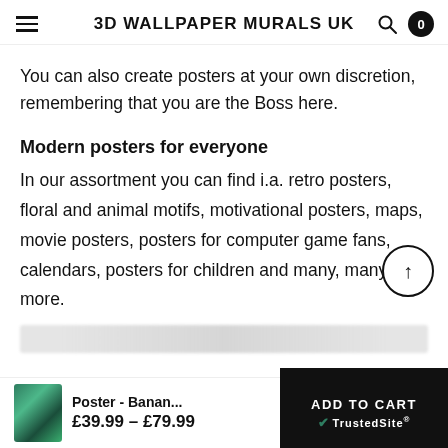3D WALLPAPER MURALS UK
You can also create posters at your own discretion, remembering that you are the Boss here.
Modern posters for everyone
In our assortment you can find i.a. retro posters, floral and animal motifs, motivational posters, maps, movie posters, posters for computer game fans, calendars, posters for children and many, many more.
Poster - Banan... £39.99 – £79.99
ADD TO CART TrustedSite